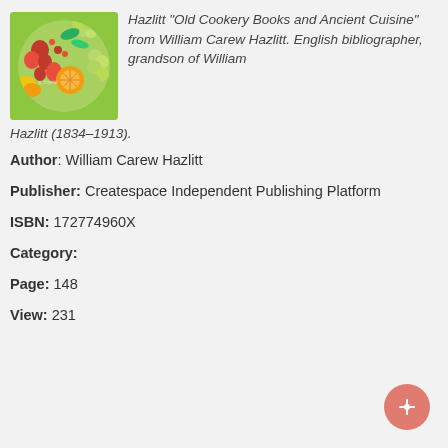[Figure (illustration): Circular book cover image on green background showing various fruits including grapes, strawberries, citrus, and other colorful fruits arranged in a circle]
Hazlitt "Old Cookery Books and Ancient Cuisine" from William Carew Hazlitt. English bibliographer, grandson of William Hazlitt (1834-1913).
Author: William Carew Hazlitt
Publisher: Createspace Independent Publishing Platform
ISBN: 172774960X
Category:
Page: 148
View: 231